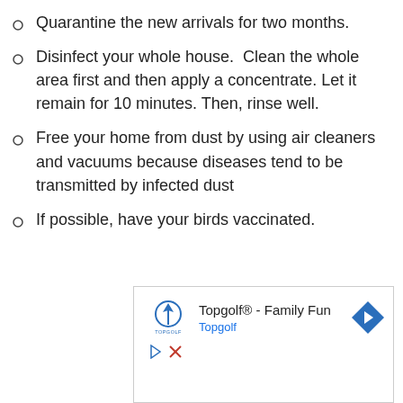Quarantine the new arrivals for two months.
Disinfect your whole house.  Clean the whole area first and then apply a concentrate. Let it remain for 10 minutes. Then, rinse well.
Free your home from dust by using air cleaners and vacuums because diseases tend to be transmitted by infected dust
If possible, have your birds vaccinated.
[Figure (screenshot): Advertisement banner for Topgolf showing logo, title 'Topgolf® - Family Fun', subtitle 'Topgolf', navigation arrow icon, play button and close button controls.]